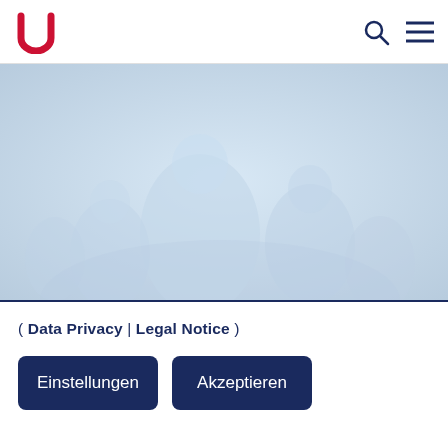University logo, search icon, menu icon
[Figure (photo): Faded light blue hero image showing people in a group, washed out in light blue tones]
( Data Privacy | Legal Notice )
Einstellungen
Akzeptieren